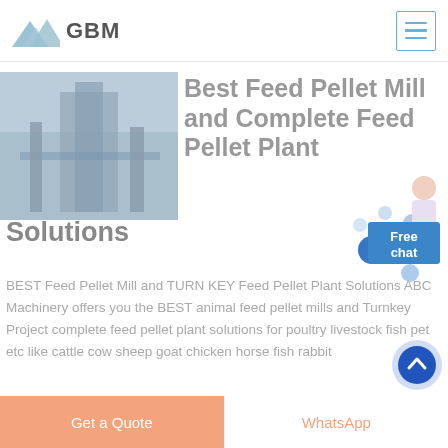GBM
[Figure (photo): Industrial feed pellet machinery inside a factory warehouse]
Best Feed Pellet Mill and Complete Feed Pellet Plant Solutions
BEST Feed Pellet Mill and TURN KEY Feed Pellet Plant Solutions ABC Machinery offers you the BEST animal feed pellet mills and Turnkey Project complete feed pellet plant solutions for poultry livestock fish pet etc like cattle cow sheep goat chicken horse fish rabbit
[Figure (other): Free chat customer service button with person illustration]
[Figure (other): Animated loading dots overlay]
[Figure (other): Scroll to top circular button]
Get a Quote | WhatsApp